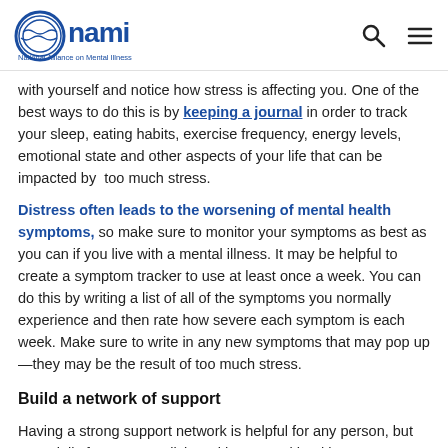NAMI - National Alliance on Mental Illness
with yourself and notice how stress is affecting you. One of the best ways to do this is by keeping a journal in order to track your sleep, eating habits, exercise frequency, energy levels, emotional state and other aspects of your life that can be impacted by too much stress.
Distress often leads to the worsening of mental health symptoms, so make sure to monitor your symptoms as best as you can if you live with a mental illness. It may be helpful to create a symptom tracker to use at least once a week. You can do this by writing a list of all of the symptoms you normally experience and then rate how severe each symptom is each week. Make sure to write in any new symptoms that may pop up—they may be the result of too much stress.
Build a network of support
Having a strong support network is helpful for any person, but especially for someone living with a mental health